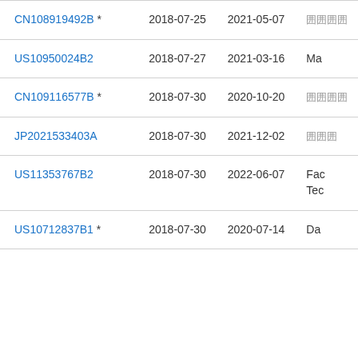| Patent | Filing Date | Publication Date | Assignee/Notes |
| --- | --- | --- | --- |
| CN108919492B * | 2018-07-25 | 2021-05-07 | 囲囲囲囲 |
| US10950024B2 | 2018-07-27 | 2021-03-16 | Ma |
| CN109116577B * | 2018-07-30 | 2020-10-20 | 囲囲囲囲 |
| JP2021533403A | 2018-07-30 | 2021-12-02 | 囲囲囲 |
| US11353767B2 | 2018-07-30 | 2022-06-07 | Fac
Tec |
| US10712837B1 * | 2018-07-30 | 2020-07-14 | Da |